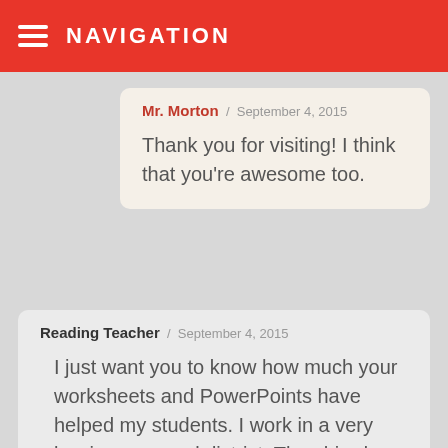NAVIGATION
Mr. Morton / September 4, 2015
Thank you for visiting! I think that you're awesome too.
Reading Teacher / September 4, 2015
I just want you to know how much your worksheets and PowerPoints have helped my students. I work in a very low income rural district. They hired me to help improve